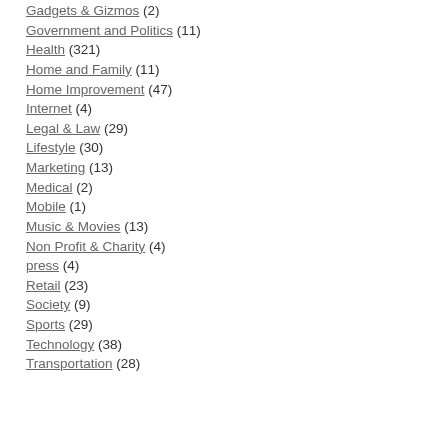Gadgets & Gizmos (2)
Government and Politics (11)
Health (321)
Home and Family (11)
Home Improvement (47)
Internet (4)
Legal & Law (29)
Lifestyle (30)
Marketing (13)
Medical (2)
Mobile (1)
Music & Movies (13)
Non Profit & Charity (4)
press (4)
Retail (23)
Society (9)
Sports (29)
Technology (38)
Transportation (28)